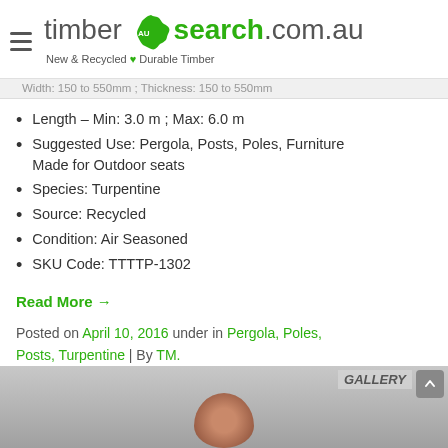timbersearch.com.au — New & Recycled Durable Timber
Width: 150 to 550mm ; Thickness: 150 to 550mm
Length – Min: 3.0 m ; Max: 6.0 m
Suggested Use: Pergola, Posts, Poles, Furniture Made for Outdoor seats
Species: Turpentine
Source: Recycled
Condition: Air Seasoned
SKU Code: TTTTP-1302
Read More →
Posted on April 10, 2016 under in Pergola, Poles, Posts, Turpentine | By TM.
[Figure (photo): GALLERY section showing timber/wood cross-section photo at bottom of page]